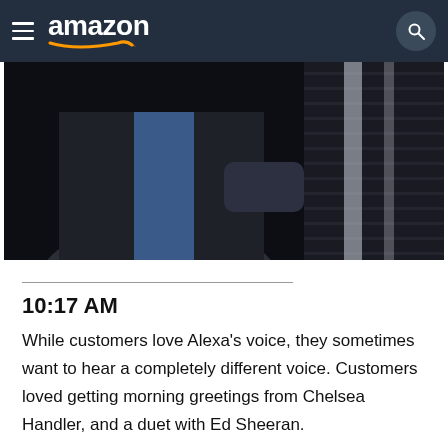amazon
[Figure (photo): Dark moody photo of a person in a suit jacket and blue shirt, standing in a dimly lit environment with venetian blinds visible in the background]
10:17 AM
While customers love Alexa's voice, they sometimes want to hear a completely different voice. Customers loved getting morning greetings from Chelsea Handler, and a duet with Ed Sheeran.